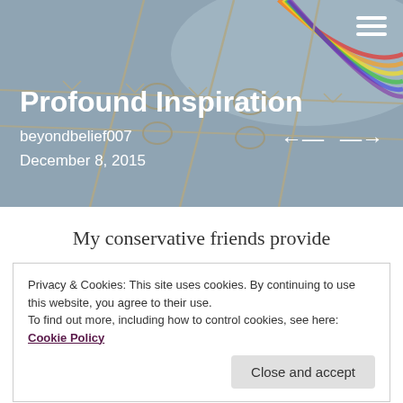[Figure (photo): Hero image showing barbed wire with a rainbow in the background against a gray sky. Blog header image.]
Profound Inspiration
beyondbelief007
December 8, 2015
My conservative friends provide
Privacy & Cookies: This site uses cookies. By continuing to use this website, you agree to their use.
To find out more, including how to control cookies, see here: Cookie Policy
Close and accept
Faith is intensely personal, I will